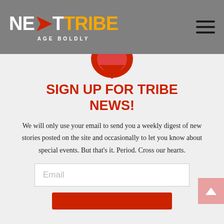NEXTTRIBE AGE BOLDLY
[Figure (logo): NextTribe logo with red arrow, orange TRIBE text, and AGE BOLDLY tagline on grey background]
[Figure (illustration): Red semicircle/downward chevron icon at top of sign-up section]
SIGN UP FOR TRIBE NEWS!
We will only use your email to send you a weekly digest of new stories posted on the site and occasionally to let you know about special events. But that’s it. Period. Cross our hearts.
Email